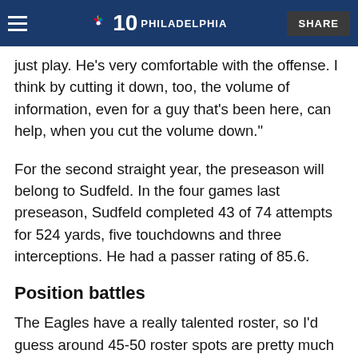NBC 10 Philadelphia | SHARE
just play. He's very comfortable with the offense. I think by cutting it down, too, the volume of information, even for a guy that's been here, can help, when you cut the volume down."
For the second straight year, the preseason will belong to Sudfeld. In the four games last preseason, Sudfeld completed 43 of 74 attempts for 524 yards, five touchdowns and three interceptions. He had a passer rating of 85.6.
Position battles
The Eagles have a really talented roster, so I'd guess around 45-50 roster spots are pretty much locked up, but there is opportunity for some guys to still make the team. At certain positions, like linebacker, receiver and maybe even